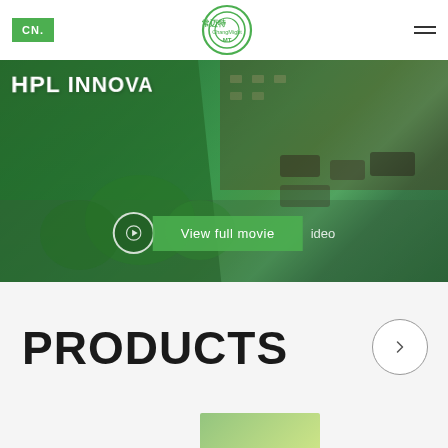[Figure (logo): ChangMight MT logo — circular green rings with Chinese characters 常迈特 and text ChangMight MT in green]
[Figure (photo): Aerial/street-level photo of HPL Innovation facility with green signage, trees, and parked vehicles. Overlay shows a green 'View full movie' button with a play circle and partial text 'video'.]
PRODUCTS